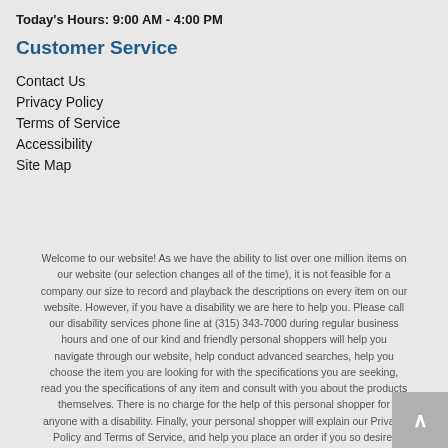Today's Hours: 9:00 AM - 4:00 PM
Customer Service
Contact Us
Privacy Policy
Terms of Service
Accessibility
Site Map
Welcome to our website! As we have the ability to list over one million items on our website (our selection changes all of the time), it is not feasible for a company our size to record and playback the descriptions on every item on our website. However, if you have a disability we are here to help you. Please call our disability services phone line at (315) 343-7000 during regular business hours and one of our kind and friendly personal shoppers will help you navigate through our website, help conduct advanced searches, help you choose the item you are looking for with the specifications you are seeking, read you the specifications of any item and consult with you about the products themselves. There is no charge for the help of this personal shopper for anyone with a disability. Finally, your personal shopper will explain our Privacy Policy and Terms of Service, and help you place an order if you so desire.